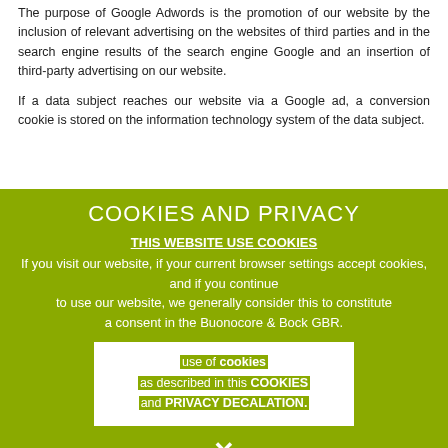The purpose of Google Adwords is the promotion of our website by the inclusion of relevant advertising on the websites of third parties and in the search engine results of the search engine Google and an insertion of third-party advertising on our website.
If a data subject reaches our website via a Google ad, a conversion cookie is…
COOKIES AND PRIVACY
THIS WEBSITE USE COOKIES
If you visit our website, if your current browser settings accept cookies, and if you continue to use our website, we generally consider this to constitute a consent in the Buonocore & Bock GBR.
use of cookies as described in this COOKIES and PRIVACY DECALATION.
✕